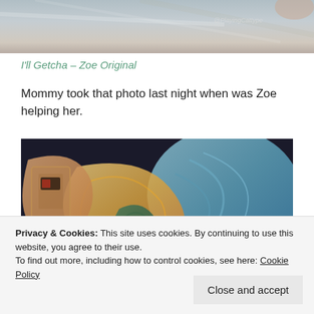[Figure (photo): Close-up photo of a cat with foil or paper background, watermark '@PlayingCattype' visible in top right]
I'll Getcha – Zoe Original
Mommy took that photo last night when was Zoe helping her.
[Figure (illustration): Stylized artistic illustration with vivid colors — orange, teal, blue, yellow swirling forms resembling a cat or objects in an abstract art style]
Privacy & Cookies: This site uses cookies. By continuing to use this website, you agree to their use.
To find out more, including how to control cookies, see here: Cookie Policy
Close and accept